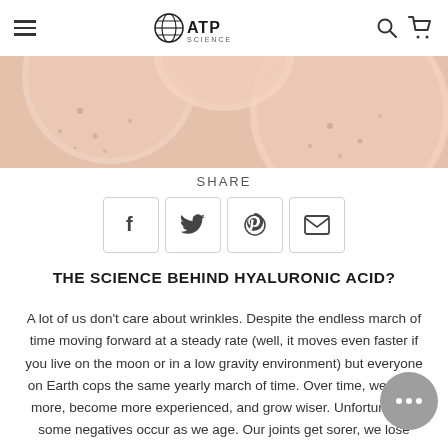ATP Science — navigation bar with hamburger menu, logo, search and cart icons
[Figure (photo): Close-up photo of pink/peach ceramic bowls or plates on a peach background, partially cropped at top]
SHARE
[Figure (infographic): Four social share buttons in rounded square outlines: Facebook, Twitter, Pinterest, Email]
THE SCIENCE BEHIND HYALURONIC ACID?
A lot of us don't care about wrinkles. Despite the endless march of time moving forward at a steady rate (well, it moves even faster if you live on the moon or in a low gravity environment) but everyone on Earth cops the same yearly march of time. Over time, we learn more, become more experienced, and grow wiser. Unfortunately, some negatives occur as we age. Our joints get sorer, we lose muscle and gain fat and wrinkles slowly form. The good news is that we can exercise our joints to keep them healthy and we